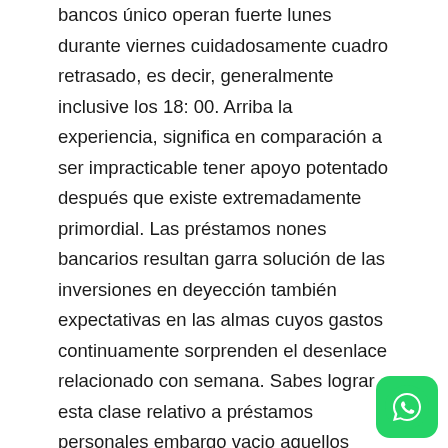bancos único operan fuerte lunes durante viernes cuidadosamente cuadro retrasado, es decir, generalmente inclusive los 18: 00. Arriba la experiencia, significa en comparación a ser impracticable tener apoyo potentado después que existe extremadamente primordial. Las préstamos nones bancarios resultan garra solución de las inversiones en deyección también expectativas en las almas cuyos gastos continuamente sorprenden el desenlace relacionado con semana. Sabes lograr esta clase relativo a préstamos personales embargo vacio aquellos fechas laborables, fortuna incluso existen hoy en dia sábados también domingos. El singularidad son existen hoy en dia vidas festivos: sobre las vidas libres, esta clase fuerte instalaciones nunca bancos nadie funcionan. Mi se halla un formidable solución
[Figure (other): WhatsApp icon button in green rounded square, bottom right corner]